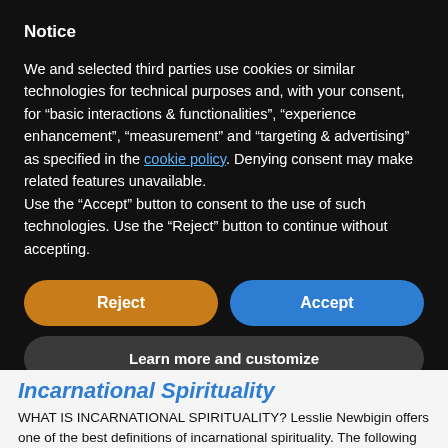Notice
We and selected third parties use cookies or similar technologies for technical purposes and, with your consent, for “basic interactions & functionalities”, “experience enhancement”, “measurement” and “targeting & advertising” as specified in the cookie policy. Denying consent may make related features unavailable.
Use the “Accept” button to consent to the use of such technologies. Use the “Reject” button to continue without accepting.
[Figure (other): Two buttons side by side: orange 'Reject' button on the left and blue 'Accept' button on the right]
[Figure (other): A dark grey 'Learn more and customize' button spanning full width]
Incarnational Spirituality
WHAT IS INCARNATIONAL SPIRITUALITY? Lesslie Newbigin offers one of the best definitions of incarnational spirituality. The following is an excerpt from “Assessing Missional Orientation: Observing Biblical Community, Incarnational